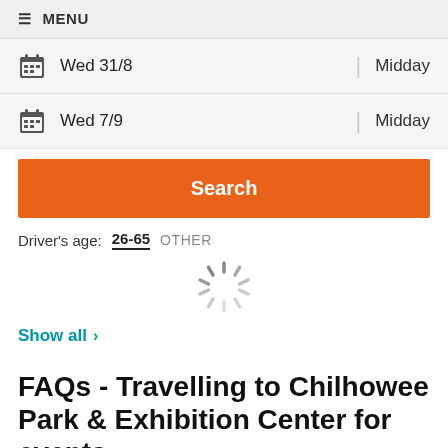≡ MENU
Wed 31/8 | Midday
Wed 7/9 | Midday
Search
Driver's age: 26-65 OTHER
[Figure (other): Loading spinner animation]
Show all >
FAQs - Travelling to Chilhowee Park & Exhibition Center for events